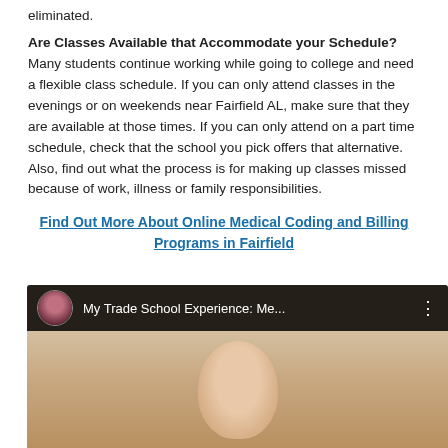eliminated.
Are Classes Available that Accommodate your Schedule? Many students continue working while going to college and need a flexible class schedule. If you can only attend classes in the evenings or on weekends near Fairfield AL, make sure that they are available at those times. If you can only attend on a part time schedule, check that the school you pick offers that alternative. Also, find out what the process is for making up classes missed because of work, illness or family responsibilities.
Find Out More About Online Medical Coding and Billing Programs in Fairfield
[Figure (screenshot): YouTube video thumbnail showing 'My Trade School Experience: Me...' with a woman's face visible below the title bar]